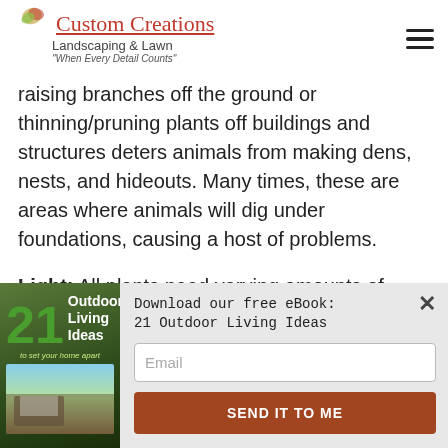Custom Creations Landscaping & Lawn "When Every Detail Counts"
raising branches off the ground or thinning/pruning plants off buildings and structures deters animals from making dens, nests, and hideouts. Many times, these are areas where animals will dig under foundations, causing a host of problems.
Light: All plants need varying amounts of sunlight to make healthy. Strategic pruning allows light to reach
[Figure (infographic): Popup modal showing book cover '21 Outdoor Living Ideas to set your home apart' with email signup form and 'SEND IT TO ME' button]